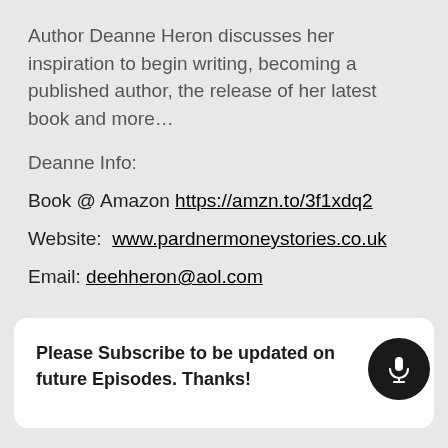Author Deanne Heron discusses her inspiration to begin writing, becoming a published author, the release of her latest book and more…
Deanne Info:
Book @ Amazon https://amzn.to/3f1xdq2
Website:  www.pardnermoneystories.co.uk
Email: deehheron@aol.com
Please Subscribe to be updated on future Episodes. Thanks!